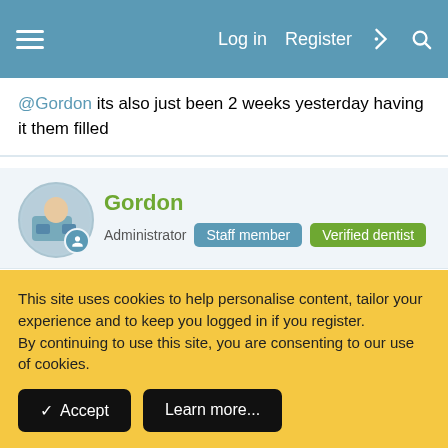Log in | Register
@Gordon its also just been 2 weeks yesterday having it them filled
Gordon
Administrator | Staff member | Verified dentist
Feb 12, 2022  #13
Is it improving or staying the same? If it's the latter I'd give them a call and see what they suggest. Composite fillings are very, very technique sensitive, it doesn't mean that the dentist has
This site uses cookies to help personalise content, tailor your experience and to keep you logged in if you register.
By continuing to use this site, you are consenting to our use of cookies.